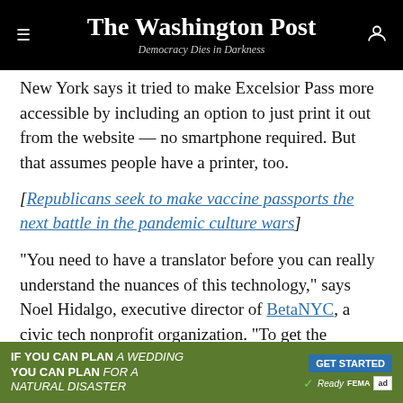The Washington Post — Democracy Dies in Darkness
New York says it tried to make Excelsior Pass more accessible by including an option to just print it out from the website — no smartphone required. But that assumes people have a printer, too.
[Republicans seek to make vaccine passports the next battle in the pandemic culture wars]
“You need to have a translator before you can really understand the nuances of this technology,” says Noel Hidalgo, executive director of BetaNYC, a civic tech nonprofit organization. “To get the vaccine, you had to have high-speed Internet access and have time and
[Figure (other): Advertisement banner: green background with text 'IF YOU CAN PLAN A WEDDING YOU CAN PLAN FOR A NATURAL DISASTER' with GET STARTED button, Ready checkmark, FEMA and ad logos]